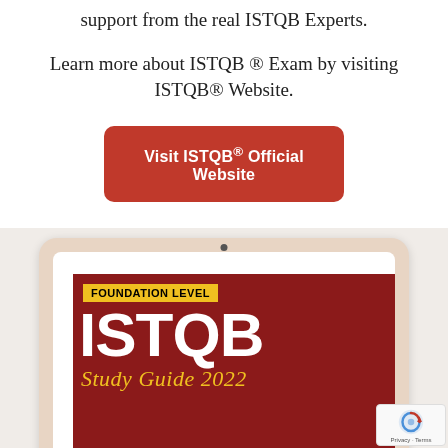support from the real ISTQB Experts.
Learn more about ISTQB ® Exam by visiting ISTQB® Website.
Visit ISTQB® Official Website
[Figure (photo): A tablet device displaying the cover of the ISTQB Foundation Level Study Guide 2022 book. The cover features a red background with 'FOUNDATION LEVEL' in a yellow badge, large white 'ISTQB' text, and 'Study Guide 2022' in gold/yellow text beneath.]